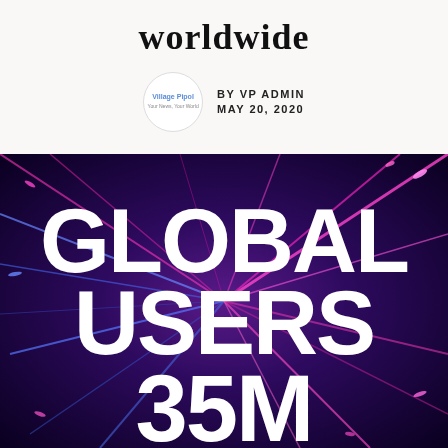worldwide
BY VP ADMIN
MAY 20, 2020
[Figure (illustration): Dark purple/blue background with colorful light rays radiating outward in pink, blue, and magenta. Large bold white text reads: GLOBAL USERS 35M]